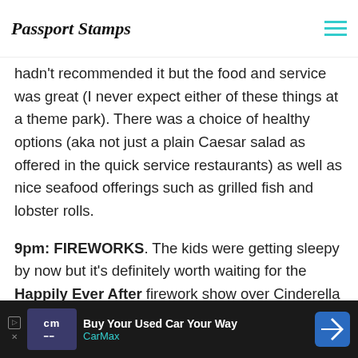Passport Stamps
hadn't recommended it but the food and service was great (I never expect either of these things at a theme park). There was a choice of healthy options (aka not just a plain Caesar salad as offered in the quick service restaurants) as well as nice seafood offerings such as grilled fish and lobster rolls.
9pm: FIREWORKS. The kids were getting sleepy by now but it's definitely worth waiting for the Happily Ever After firework show over Cinderella Castle. If you're asking what to do in Orlando, this pretty much takes the top spot. It's going to be a busy 2 weeks in Orlando, so you don't want to waste time coming back to the Magic
Buy Your Used Car Your Way CarMax